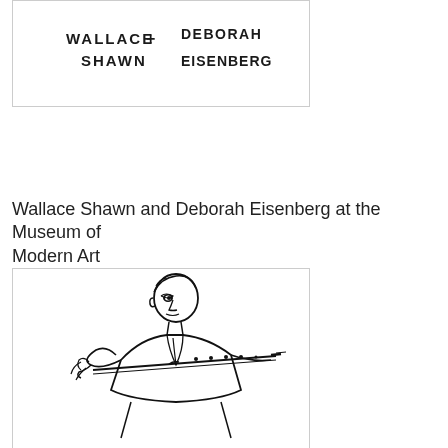[Figure (illustration): Hand-drawn sketch with handwritten text reading 'WALLACE SHAWN + DEBORAH EISENBERG']
Wallace Shawn and Deborah Eisenberg at the Museum of Modern Art
May 5, 2012
[Figure (illustration): Hand-drawn sketch of a man playing a flute or similar wind instrument, line art style]